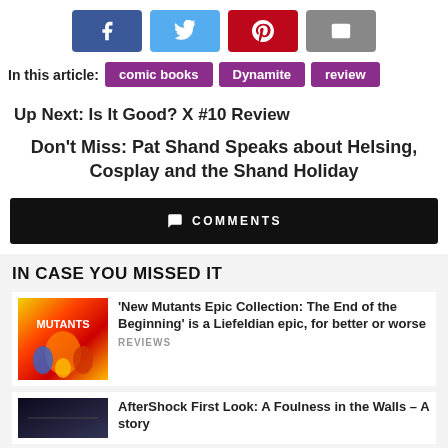[Figure (other): Social share buttons: Facebook, Twitter, Pinterest, Email]
In this article: comic books  Dynamite  review
Up Next: Is It Good? X #10 Review
Don't Miss: Pat Shand Speaks about Helsing, Cosplay and the Shand Holiday
COMMENTS
IN CASE YOU MISSED IT
'New Mutants Epic Collection: The End of the Beginning' is a Liefeldian epic, for better or worse REVIEWS
AfterShock First Look: A Foulness in the Walls – A story